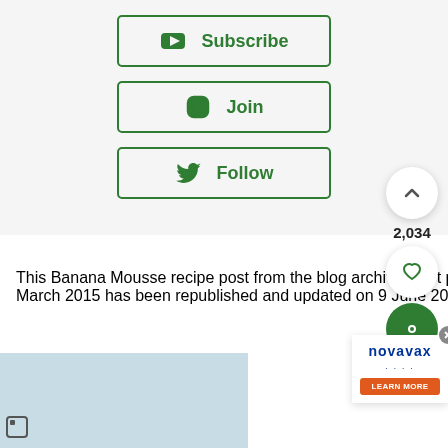[Figure (infographic): Social media buttons: Subscribe (YouTube), Join (Instagram), Follow (Twitter), all in green with borders]
This Banana Mousse recipe post from the blog archives first published in March 2015 has been republished and updated on 9 June 2022.
[Figure (infographic): Side panel with up arrow button, 2,034 count, heart button, green circle button, and novavax ad with LEARN MORE button]
[Figure (photo): Light blue placeholder image at bottom left]